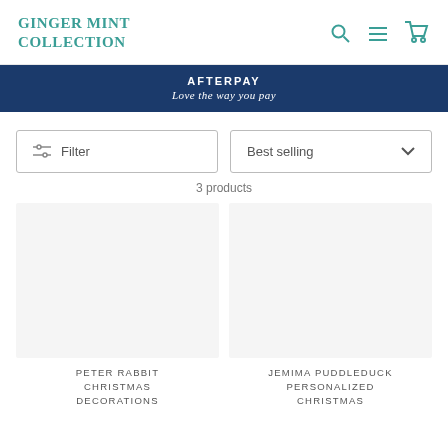GINGER MINT COLLECTION
AFTERPAY
Love the way you pay
Filter
Best selling
3 products
PETER RABBIT CHRISTMAS DECORATIONS
JEMIMA PUDDLEDUCK PERSONALIZED CHRISTMAS